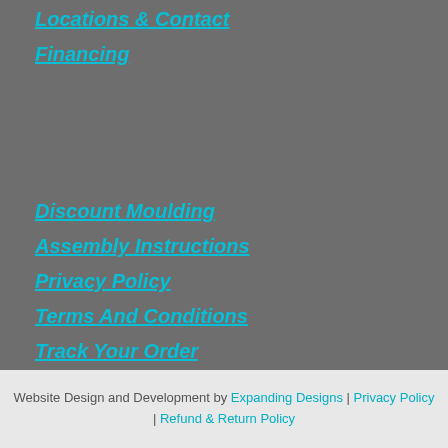Locations & Contact
Financing
Discount Moulding
Assembly Instructions
Privacy Policy
Terms And Conditions
Track Your Order
Sitemap
Blog
Website Design and Development by Expanding Designs | Privacy Policy | Refund & Return Policy